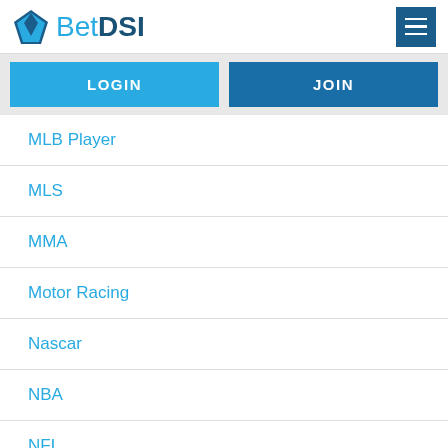[Figure (logo): BetDSI logo with blue diamond gem icon and text 'Bet' in light blue and 'DSI' in dark blue]
LOGIN
JOIN
MLB Player
MLS
MMA
Motor Racing
Nascar
NBA
NFL
NFL Award
NFL Awards